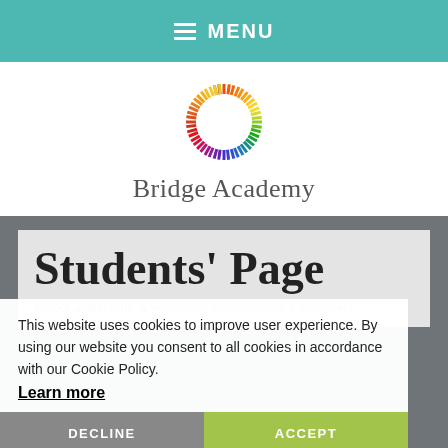☰ MENU
[Figure (logo): Colorful circular logo made of radiating lines in rainbow colors, forming a circle/sunburst shape. Bridge Academy logo.]
Bridge Academy
Students' Page
school action plus, a very small minority have a statement
This website uses cookies to improve user experience. By using our website you consent to all cookies in accordance with our Cookie Policy.
Learn more
DECLINE
ACCEPT
of special educational needs or Educational Health Care Plan